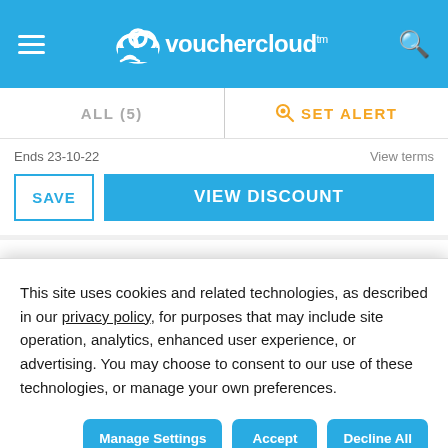vouchercloud
ALL (5)  |  SET ALERT
Ends 23-10-22   View terms
SAVE   VIEW DISCOUNT
Popular LottoGo Offers for August 2022
| VOUCHER DESCRIPTION | DISCOUNT | EXPIRY |
| --- | --- | --- |
This site uses cookies and related technologies, as described in our privacy policy, for purposes that may include site operation, analytics, enhanced user experience, or advertising. You may choose to consent to our use of these technologies, or manage your own preferences.
Manage Settings   Accept   Decline All